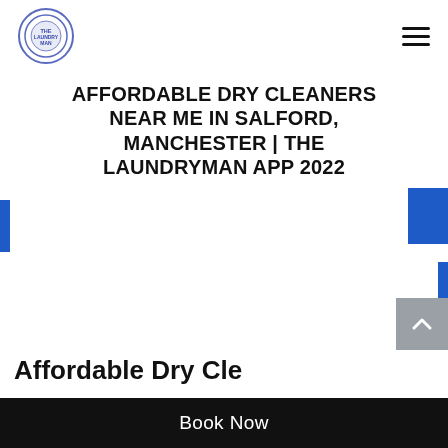The Laundryman App logo and hamburger menu navigation
AFFORDABLE DRY CLEANERS NEAR ME IN SALFORD, MANCHESTER | THE LAUNDRYMAN APP 2022
[Figure (other): Blue accent decorative bars on left and right sides of page]
[Figure (other): Gray scroll-to-top arrow button on right side]
Affordable Dry Cle...
Book Now